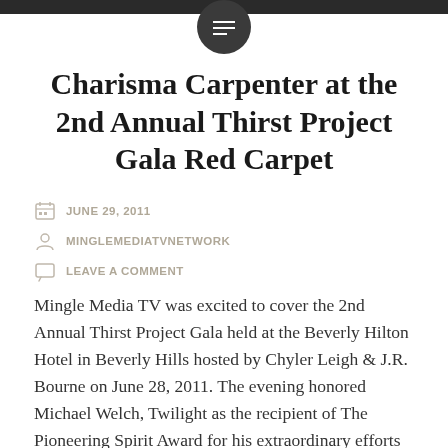Charisma Carpenter at the 2nd Annual Thirst Project Gala Red Carpet
JUNE 29, 2011
MINGLEMEDIATVNETWORK
LEAVE A COMMENT
Mingle Media TV was excited to cover the 2nd Annual Thirst Project Gala held at the Beverly Hilton Hotel in Beverly Hills hosted by Chyler Leigh & J.R. Bourne on June 28, 2011. The evening honored Michael Welch, Twilight as the recipient of The Pioneering Spirit Award for his extraordinary efforts to raise the profile of the global water crisis and helping provide clean, safe